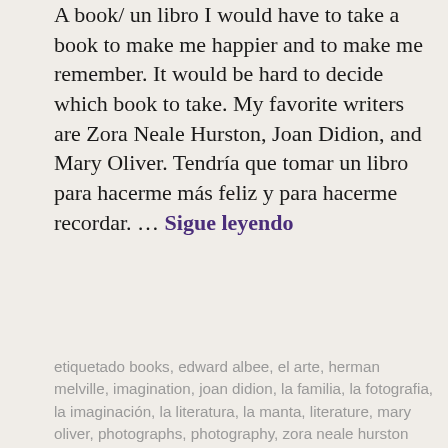A book/ un libro I would have to take a book to make me happier and to make me remember. It would be hard to decide which book to take. My favorite writers are Zora Neale Hurston, Joan Didion, and Mary Oliver. Tendría que tomar un libro para hacerme más feliz y para hacerme recordar. … Sigue leyendo
etiquetado books, edward albee, el arte, herman melville, imagination, joan didion, la familia, la fotografia, la imaginación, la literatura, la manta, literature, mary oliver, photographs, photography, zora neale hurston      deja un comentario
[Figure (photo): Sepia-toned photograph showing a metallic bowl or pot, close-up view, on a light fabric background]